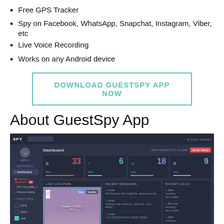Free GPS Tracker
Spy on Facebook, WhatsApp, Snapchat, Instagram, Viber, etc
Live Voice Recording
Works on any Android device
DOWNLOAD GUESTSPY APP NOW
About GuestSpy App
[Figure (screenshot): GuestSpy app dashboard screenshot showing SPY interface with sidebar navigation, stats (Total:33, SMS:6, Calls:18, Chat:9), Last Location map, Recent Messages, and Recent Calls panels]